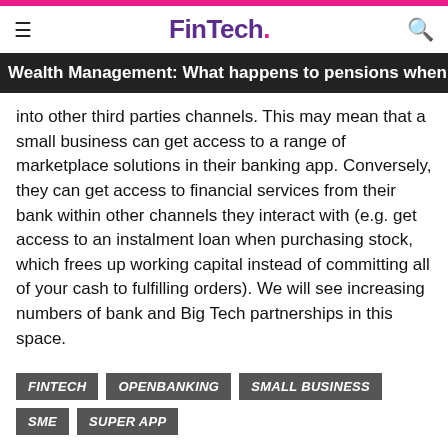FinTech.
Wealth Management: What happens to pensions when you
into other third parties channels. This may mean that a small business can get access to a range of marketplace solutions in their banking app. Conversely, they can get access to financial services from their bank within other channels they interact with (e.g. get access to an instalment loan when purchasing stock, which frees up working capital instead of committing all of your cash to fulfilling orders). We will see increasing numbers of bank and Big Tech partnerships in this space.
FINTECH
OPENBANKING
SMALL BUSINESS
SME
SUPER APP
SHARE